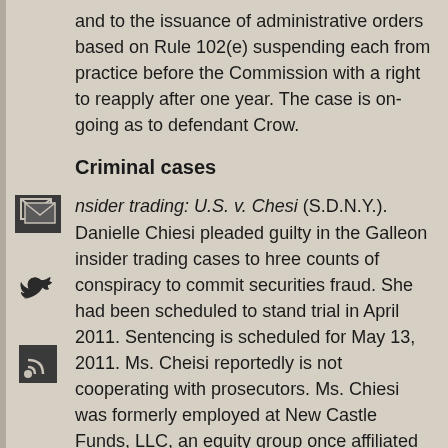and to the issuance of administrative orders based on Rule 102(e) suspending each from practice before the Commission with a right to reapply after one year. The case is on-going as to defendant Crow.
Criminal cases
Insider trading: U.S. v. Chesi (S.D.N.Y.). Danielle Chiesi pleaded guilty in the Galleon insider trading cases to three counts of conspiracy to commit securities fraud. She had been scheduled to stand trial in April 2011. Sentencing is scheduled for May 13, 2011. Ms. Cheisi reportedly is not cooperating with prosecutors. Ms. Chiesi was formerly employed at New Castle Funds, LLC, an equity group once affiliated with Bear Stearns Asset Management, Inc. She was initially charged along with Mark Kurland and Robert Moffat. Both men have pleaded guilty. At the same time charges were brought against